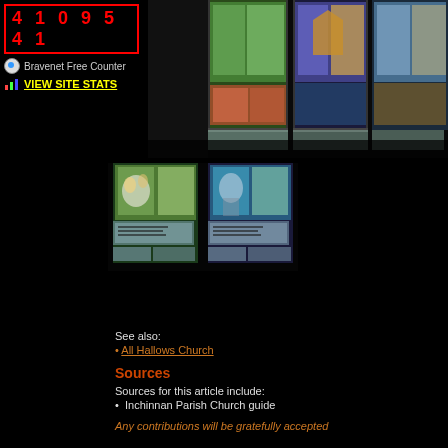[Figure (other): Bravenet free counter widget showing number 4109541 in red on black with red border, Bravenet Free Counter text with icon, and VIEW SITE STATS link in yellow]
[Figure (photo): Stained glass windows of a church, top portion showing colorful panels with heraldic designs visible, dark surroundings]
[Figure (photo): Two stained glass church windows in lower portion showing figurative scenes with text panels below, dark surroundings]
See also:
All Hallows Church
Sources
Sources for this article include:
Inchinnan Parish Church guide
Any contributions will be gratefully accepted